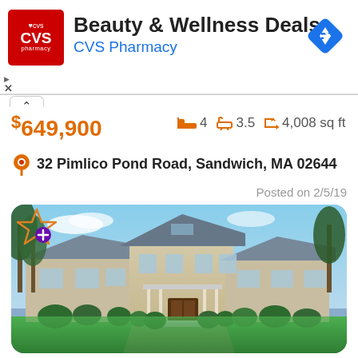[Figure (screenshot): CVS Pharmacy advertisement banner with red logo, 'Beauty & Wellness Deals' title, and blue navigation arrow icon]
$649,900
4  3.5  4,008 sq ft
32 Pimlico Pond Road, Sandwich, MA 02644
Posted on 2/5/19
[Figure (photo): Two-story colonial style house with gray/beige siding, front porch with columns, surrounded by trees and lawn, blue sky background]